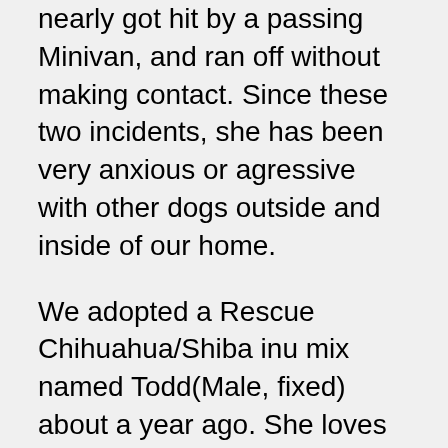nearly got hit by a passing Minivan, and ran off without making contact. Since these two incidents, she has been very anxious or agressive with other dogs outside and inside of our home.
We adopted a Rescue Chihuahua/Shiba inu mix named Todd(Male, fixed) about a year ago. She loves to have a friend to run around and play with. She is very gentle with him even when they play fight, much to our relief. Lately however we have noticed a lot of disturbing agression involving dogs in general. It started with food agression. We feed the dogs breakfast and dinner, with a lunchtime treat or rawhide if they were good that day. She started to get super defensive over her rawhide chews and so we put her in her Kennel, and let it slide. We also fed her in there for the same reason. Once we didn't lock the cage quite right, and a fight ensued between Maya and Lily. Maya, the younger, larger and more powerful of the two